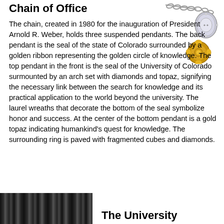Chain of Office
[Figure (photo): Close-up photograph of the Chain of Office pendants showing ornate gold and silver medallions with gemstones on a chain]
The chain, created in 1980 for the inauguration of President Arnold R. Weber, holds three suspended pendants. The back pendant is the seal of the state of Colorado surrounded by a golden ribbon representing the golden circle of knowledge. The top pendant in the front is the seal of the University of Colorado surmounted by an arch set with diamonds and topaz, signifying the necessary link between the search for knowledge and its practical application to the world beyond the university. The laurel wreaths that decorate the bottom of the seal symbolize honor and success. At the center of the bottom pendant is a gold topaz indicating humankind's quest for knowledge. The surrounding ring is paved with fragmented cubes and diamonds.
[Figure (photo): Dark photograph showing a strip of images at the bottom of the page]
The University